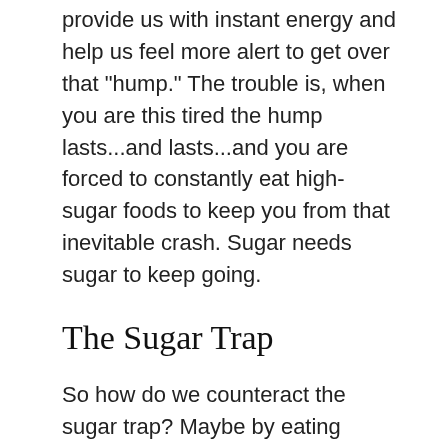provide us with instant energy and help us feel more alert to get over that "hump." The trouble is, when you are this tired the hump lasts...and lasts...and you are forced to constantly eat high-sugar foods to keep you from that inevitable crash. Sugar needs sugar to keep going.
The Sugar Trap
So how do we counteract the sugar trap? Maybe by eating smaller meals and snacking more frequently when we are fatigued. Possibly adding some protein to the carbs and sugars we do eat. (A spoonful of peanut butter on graham crackers with a bit of Nutella seems to do the trick.) If we really must have simple carbs and sugars to stay awake, we need to limit how